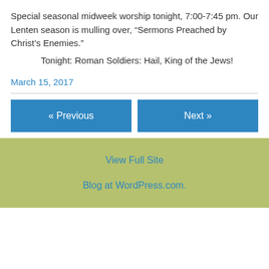Special seasonal midweek worship tonight, 7:00-7:45 pm. Our Lenten season is mulling over, “Sermons Preached by Christ’s Enemies.”
Tonight: Roman Soldiers: Hail, King of the Jews!
March 15, 2017
« Previous
Next »
View Full Site
Blog at WordPress.com.